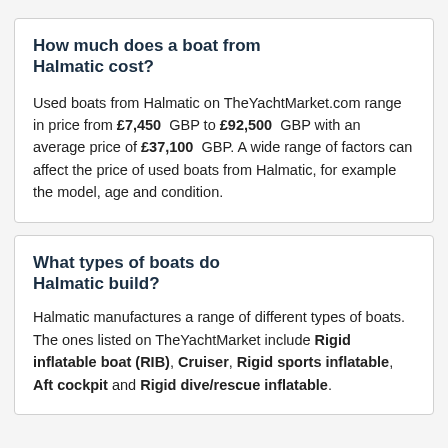How much does a boat from Halmatic cost?
Used boats from Halmatic on TheYachtMarket.com range in price from £7,450 GBP to £92,500 GBP with an average price of £37,100 GBP. A wide range of factors can affect the price of used boats from Halmatic, for example the model, age and condition.
What types of boats do Halmatic build?
Halmatic manufactures a range of different types of boats. The ones listed on TheYachtMarket include Rigid inflatable boat (RIB), Cruiser, Rigid sports inflatable, Aft cockpit and Rigid dive/rescue inflatable.